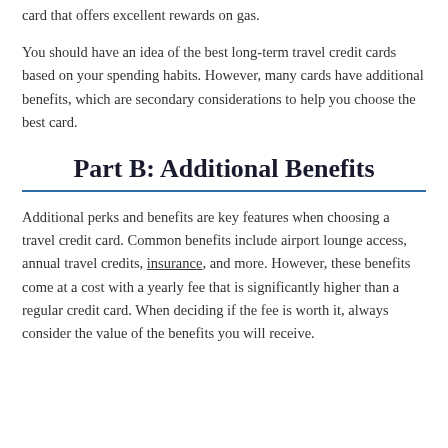card that offers excellent rewards on gas.
You should have an idea of the best long-term travel credit cards based on your spending habits. However, many cards have additional benefits, which are secondary considerations to help you choose the best card.
Part B: Additional Benefits
Additional perks and benefits are key features when choosing a travel credit card. Common benefits include airport lounge access, annual travel credits, insurance, and more. However, these benefits come at a cost with a yearly fee that is significantly higher than a regular credit card. When deciding if the fee is worth it, always consider the value of the benefits you will receive.